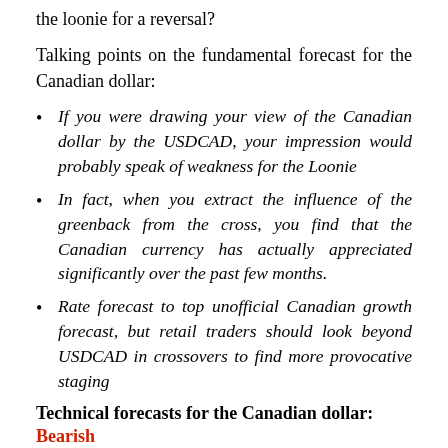the loonie for a reversal?
Talking points on the fundamental forecast for the Canadian dollar:
If you were drawing your view of the Canadian dollar by the USDCAD, your impression would probably speak of weakness for the Loonie
In fact, when you extract the influence of the greenback from the cross, you find that the Canadian currency has actually appreciated significantly over the past few months.
Rate forecast to top unofficial Canadian growth forecast, but retail traders should look beyond USDCAD in crossovers to find more provocative staging
Technical forecasts for the Canadian dollar: Bearish
The currency you have chosen to represent a single currency is